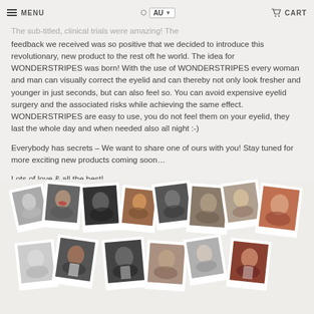MENU  AU  CART
The sub-titled, clinical trials were amazing! The feedback we received was so positive that we decided to introduce this revolutionary, new product to the rest oft he world. The idea for WONDERSTRIPES was born! With the use of WONDERSTRIPES every woman and man can visually correct the eyelid and can thereby not only look fresher and younger in just seconds, but can also feel so. You can avoid expensive eyelid surgery and the associated risks while achieving the same effect. WONDERSTRIPES are easy to use, you do not feel them on your eyelid, they last the whole day and when needed also all night :-)
Everybody has secrets – We want to share one of ours with you! Stay tuned for more exciting new products coming soon…
Lots of love & all the best!
Your WONDERSTRIPES Team
[Figure (photo): A collage of polaroid-style photographs showing various people holding WONDERSTRIPES products, arranged in two overlapping rows]